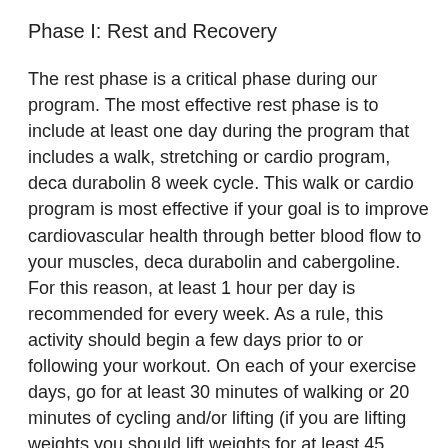Phase I: Rest and Recovery
The rest phase is a critical phase during our program. The most effective rest phase is to include at least one day during the program that includes a walk, stretching or cardio program, deca durabolin 8 week cycle. This walk or cardio program is most effective if your goal is to improve cardiovascular health through better blood flow to your muscles, deca durabolin and cabergoline. For this reason, at least 1 hour per day is recommended for every week. As a rule, this activity should begin a few days prior to or following your workout. On each of your exercise days, go for at least 30 minutes of walking or 20 minutes of cycling and/or lifting (if you are lifting weights you should lift weights for at least 45 minutes a day), deca durabolin 8 week